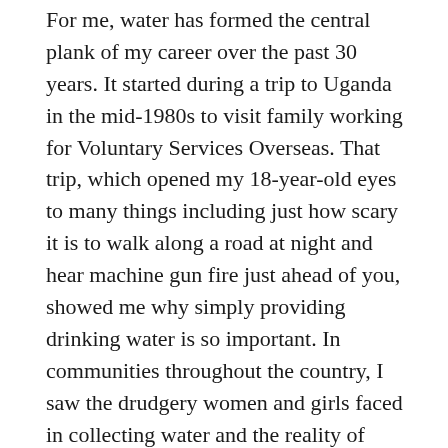For me, water has formed the central plank of my career over the past 30 years. It started during a trip to Uganda in the mid-1980s to visit family working for Voluntary Services Overseas. That trip, which opened my 18-year-old eyes to many things including just how scary it is to walk along a road at night and hear machine gun fire just ahead of you, showed me why simply providing drinking water is so important. In communities throughout the country, I saw the drudgery women and girls faced in collecting water and the reality of young children dying simply because they drank contaminated water.
These experiences led me into working on a rural water project as a young VSO volunteer in Sierra Leone in the early 1990s, and then back in Uganda in the late 1990s, living amid a cholera outbreak, where 'protected' springs and poor hygiene in hospitals